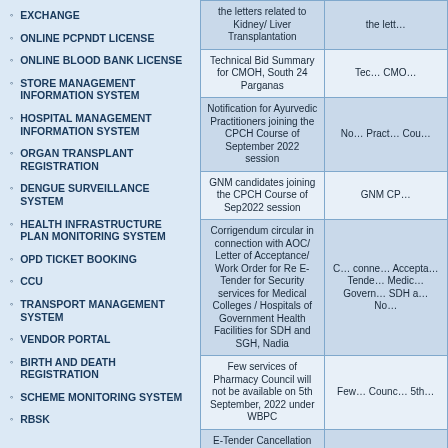EXCHANGE
ONLINE PCPNDT LICENSE
ONLINE BLOOD BANK LICENSE
STORE MANAGEMENT INFORMATION SYSTEM
HOSPITAL MANAGEMENT INFORMATION SYSTEM
ORGAN TRANSPLANT REGISTRATION
DENGUE SURVEILLANCE SYSTEM
HEALTH INFRASTRUCTURE PLAN MONITORING SYSTEM
OPD TICKET BOOKING
CCU
TRANSPORT MANAGEMENT SYSTEM
VENDOR PORTAL
BIRTH AND DEATH REGISTRATION
SCHEME MONITORING SYSTEM
RBSK
| Column 1 | Column 2 |
| --- | --- |
| the letters related to Kidney/ Liver Transplantation | the lett... |
| Technical Bid Summary for CMOH, South 24 Parganas | Tec... CMO... |
| Notification for Ayurvedic Practitioners joining the CPCH Course of September 2022 session | No... Pract... Cou... |
| GNM candidates joining the CPCH Course of Sep2022 session | GNM CP... |
| Corrigendum circular in connection with AOC/ Letter of Acceptance/ Work Order for Re E-Tender for Security services for Medical Colleges / Hospitals of Government Health Facilities for SDH and SGH, Nadia | C... conne... Accepta... Tende... Medic... Govern... SDH a... No... |
| Few services of Pharmacy Council will not be available on 5th September, 2022 under WBPC | Fev... Counc... 5th... |
| E-Tender Cancellation Notice for Providing Security Services in R.G. Kar Medical College & Hospital | E-Tend... Provi... R.G... Hos... RI... |
| QUOTATION CANCELLATION NOTICE FROM R.G.KAR MCH | QUOT... NOT... |